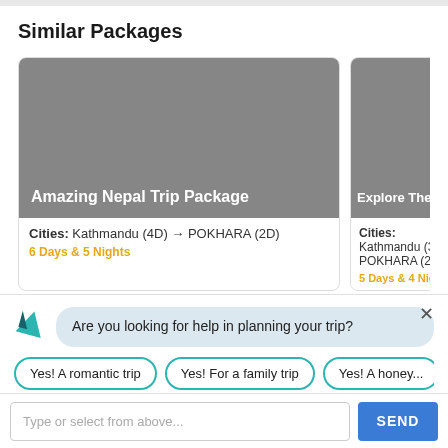Similar Packages
[Figure (screenshot): Travel package card for Amazing Nepal Trip Package. Gray image area with white title text. Cities: Kathmandu (4D) → POKHARA (2D). Duration: 6 Days & 5 Nights in orange.]
[Figure (screenshot): Partial travel package card for Explore The B... Gray image area with white title text. Cities: Kathmandu (3...) POKHARA (2D). Duration: 5 Days & 4 Nights in orange.]
Are you looking for help in planning your trip?
Yes! A romantic trip
Yes! For a family trip
Yes! A honey...
Type or select from above...
SEND